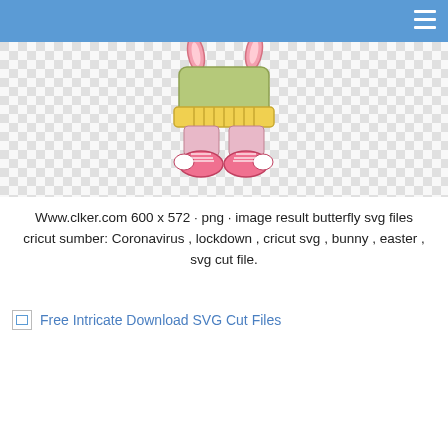[Figure (illustration): Checkerboard transparent background with a illustrated bunny character wearing green clothing and pink shoes/sneakers, shown from the waist down.]
Www.clker.com 600 x 572 · png · image result butterfly svg files cricut sumber: Coronavirus , lockdown , cricut svg , bunny , easter , svg cut file.
Free Intricate Download SVG Cut Files